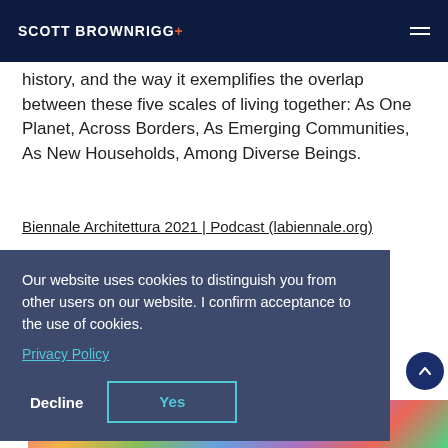SCOTT BROWNRIGG+
history, and the way it exemplifies the overlap between these five scales of living together: As One Planet, Across Borders, As Emerging Communities, As New Households, Among Diverse Beings.
Biennale Architettura 2021 | Podcast (labiennale.org)
Our website uses cookies to distinguish you from other users on our website. I confirm acceptance to the use of cookies.
Privacy Policy
Decline
Yes
[Figure (photo): Colorful image strip at bottom of page]